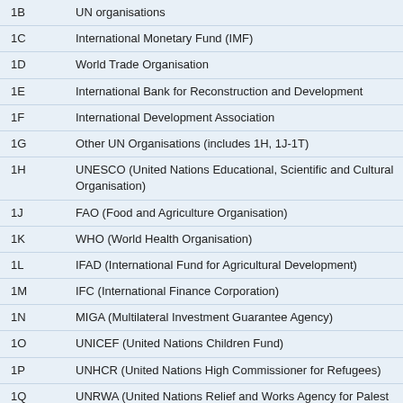| Code | Description |
| --- | --- |
| 1B | UN organisations |
| 1C | International Monetary Fund (IMF) |
| 1D | World Trade Organisation |
| 1E | International Bank for Reconstruction and Development |
| 1F | International Development Association |
| 1G | Other UN Organisations (includes 1H, 1J-1T) |
| 1H | UNESCO (United Nations Educational, Scientific and Cultural Organisation) |
| 1J | FAO (Food and Agriculture Organisation) |
| 1K | WHO (World Health Organisation) |
| 1L | IFAD (International Fund for Agricultural Development) |
| 1M | IFC (International Finance Corporation) |
| 1N | MIGA (Multilateral Investment Guarantee Agency) |
| 1O | UNICEF (United Nations Children Fund) |
| 1P | UNHCR (United Nations High Commissioner for Refugees) |
| 1Q | UNRWA (United Nations Relief and Works Agency for Palest…) |
| 1R | IAEA (International Atomic Energy Agency) |
| 1S | ILO (International Labour Organisation) |
| 1T | ITU (International Telecommunication Union) |
| 1W | World Bank |